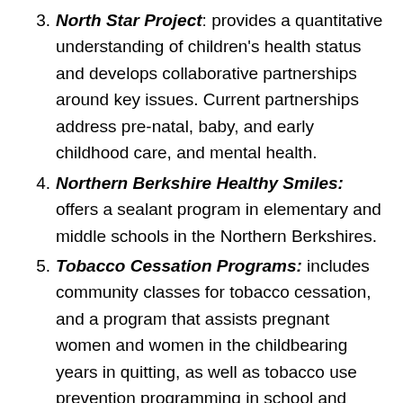North Star Project: provides a quantitative understanding of children's health status and develops collaborative partnerships around key issues. Current partnerships address pre-natal, baby, and early childhood care, and mental health.
Northern Berkshire Healthy Smiles: offers a sealant program in elementary and middle schools in the Northern Berkshires.
Tobacco Cessation Programs: includes community classes for tobacco cessation, and a program that assists pregnant women and women in the childbearing years in quitting, as well as tobacco use prevention programming in school and community